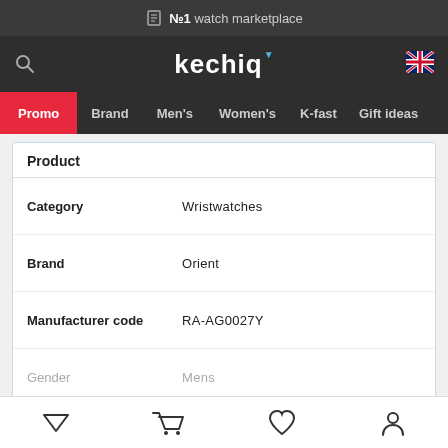№1 watch marketplace
[Figure (logo): Kechiq watch marketplace logo with navigation menu including Promo, Brand, Men's, Women's, K-fast, Gift ideas]
Product
| Field | Value |
| --- | --- |
| Category | Wristwatches |
| Brand | Orient |
| Manufacturer code | RA-AG0027Y |
| Gender | Mens |
See all the info
Payment methods